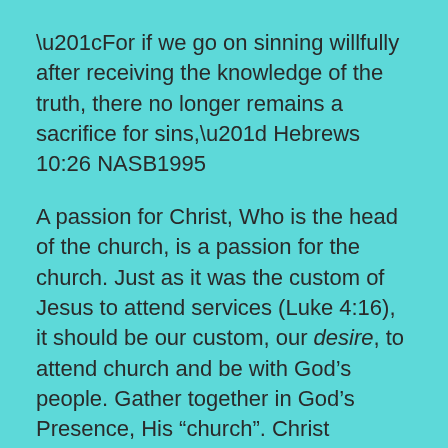“For if we go on sinning willfully after receiving the knowledge of the truth, there no longer remains a sacrifice for sins,” Hebrews 10:26 NASB1995
A passion for Christ, Who is the head of the church, is a passion for the church. Just as it was the custom of Jesus to attend services (Luke 4:16), it should be our custom, our desire, to attend church and be with God’s people. Gather together in God’s Presence, His “church”. Christ promises to be with us, when 2 or more gather…. it is a time of renewal; a reference point that helps us define where we are in our lives. Being together helps us to consider and encourage others. When we are active and participating, we help the church to be all that it can be by